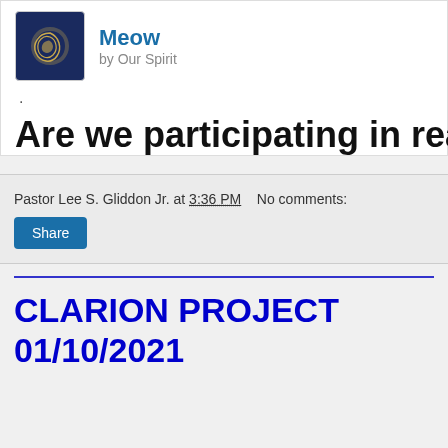[Figure (logo): App icon with spiral/swirl symbol on dark blue background for 'Meow' app by Our Spirit]
Meow
by Our Spirit
.
Are we participating in reality TV
Pastor Lee S. Gliddon Jr. at 3:36 PM   No comments:
Share
CLARION PROJECT 01/10/2021